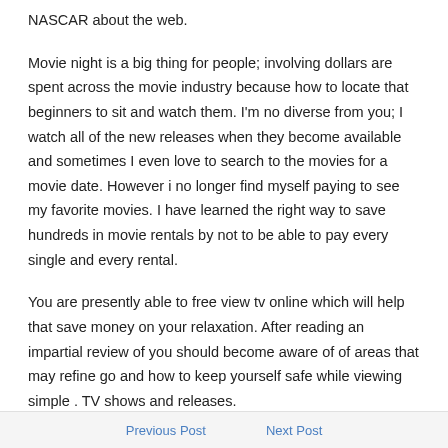NASCAR about the web.
Movie night is a big thing for people; involving dollars are spent across the movie industry because how to locate that beginners to sit and watch them. I'm no diverse from you; I watch all of the new releases when they become available and sometimes I even love to search to the movies for a movie date. However i no longer find myself paying to see my favorite movies. I have learned the right way to save hundreds in movie rentals by not to be able to pay every single and every rental.
You are presently able to free view tv online which will help that save money on your relaxation. After reading an impartial review of you should become aware of of areas that may refine go and how to keep yourself safe while viewing simple . TV shows and releases.
Previous Post    Next Post